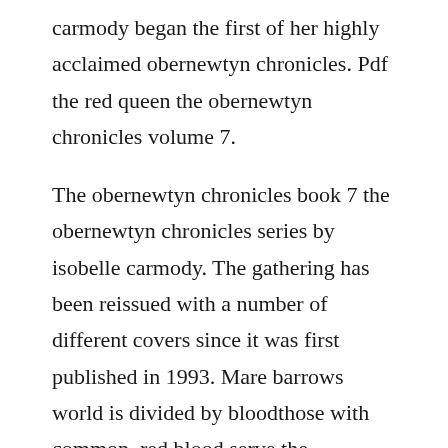carmody began the first of her highly acclaimed obernewtyn chronicles. Pdf the red queen the obernewtyn chronicles volume 7.
The obernewtyn chronicles book 7 the obernewtyn chronicles series by isobelle carmody. The gathering has been reissued with a number of different covers since it was first published in 1993. Mare barrows world is divided by bloodthose with common, red blood serve the silverblooded elite, who are gifted with superhuman abilities. Booktopia has the red queen, obernewtyn chronicles.